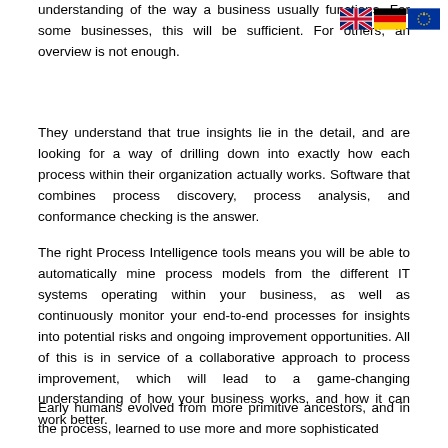[Figure (illustration): Three flag icons in the top right corner: UK flag, German flag, EU flag]
understanding of the way a business usually functions. For some businesses, this will be sufficient. For others, an overview is not enough.
They understand that true insights lie in the detail, and are looking for a way of drilling down into exactly how each process within their organization actually works. Software that combines process discovery, process analysis, and conformance checking is the answer.
The right Process Intelligence tools means you will be able to automatically mine process models from the different IT systems operating within your business, as well as continuously monitor your end-to-end processes for insights into potential risks and ongoing improvement opportunities. All of this is in service of a collaborative approach to process improvement, which will lead to a game-changing understanding of how your business works, and how it can work better.
Early humans evolved from more primitive ancestors, and in the process, learned to use more and more sophisticated